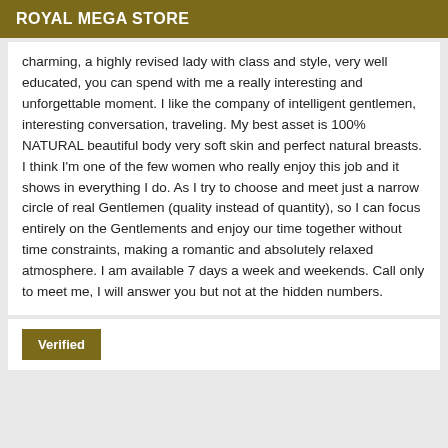ROYAL MEGA STORE
charming, a highly revised lady with class and style, very well educated, you can spend with me a really interesting and unforgettable moment. I like the company of intelligent gentlemen, interesting conversation, traveling. My best asset is 100% NATURAL beautiful body very soft skin and perfect natural breasts. I think I'm one of the few women who really enjoy this job and it shows in everything I do. As I try to choose and meet just a narrow circle of real Gentlemen (quality instead of quantity), so I can focus entirely on the Gentlements and enjoy our time together without time constraints, making a romantic and absolutely relaxed atmosphere. I am available 7 days a week and weekends. Call only to meet me, I will answer you but not at the hidden numbers.
Verified